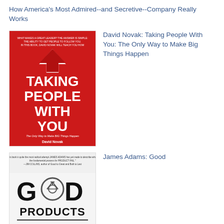How America's Most Admired--and Secretive--Company Really Works
[Figure (illustration): Book cover: Taking People With You - The Only Way to Make BIG Things Happen by David Novak. Red background with large white text and a red upward arrow.]
David Novak: Taking People With You: The Only Way to Make Big Things Happen
[Figure (illustration): Book cover: Good Products Bad Products - Essential Elements to Achieving Superior Quality by James L. Adams. White and red cover with a bicycle image replacing the letter 'O' in 'GOOD'.]
James Adams: Good